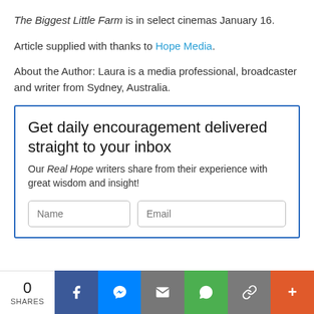The Biggest Little Farm is in select cinemas January 16.
Article supplied with thanks to Hope Media.
About the Author: Laura is a media professional, broadcaster and writer from Sydney, Australia.
Get daily encouragement delivered straight to your inbox
Our Real Hope writers share from their experience with great wisdom and insight!
0 SHARES | Facebook | Messenger | Email | WhatsApp | Link | More